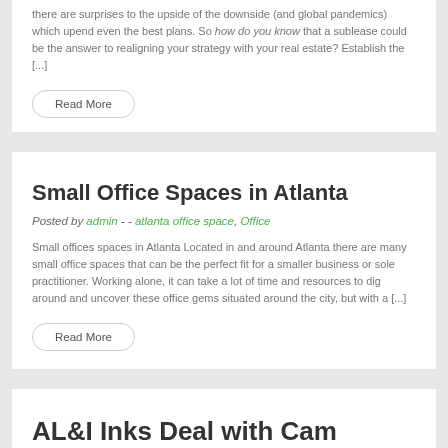there are surprises to the upside of the downside (and global pandemics) which upend even the best plans.  So how do you know that a sublease could be the answer to realigning your strategy with your real estate? Establish the [...]
Read More
Small Office Spaces in Atlanta
Posted by admin - - atlanta office space, Office
Small offices spaces in Atlanta Located in and around Atlanta there are many small office spaces that can be the perfect fit for a smaller business or sole practitioner.  Working alone, it can take a lot of time and resources to dig around and uncover these office gems situated around the city, but with a [...]
Read More
AL&I Inks Deal with Cam Newton & Iconic Saga Productions
Posted by admin - - Office, Commercial Real estate...